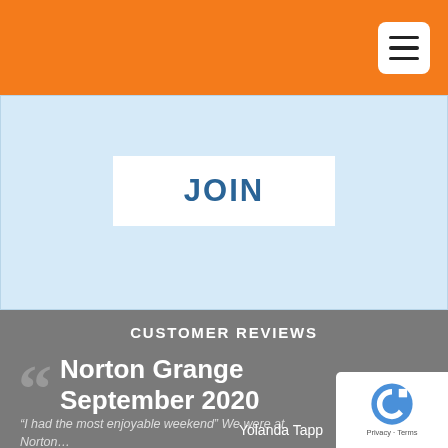JOIN
CUSTOMER REVIEWS
Norton Grange September 2020
“I had the most enjoyable weekend” We were at Norton…
Yolanda Tapp